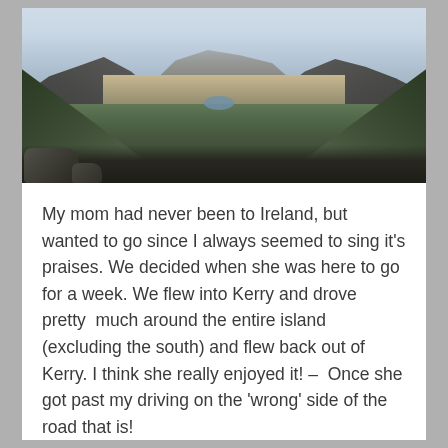[Figure (photo): Panoramic landscape photograph of an Irish valley with green hills, rocky terrain, a small mountain lake in the middle distance, and mountains under a cloudy sky.]
My mom had never been to Ireland, but wanted to go since I always seemed to sing it's praises. We decided when she was here to go for a week. We flew into Kerry and drove pretty  much around the entire island (excluding the south) and flew back out of Kerry. I think she really enjoyed it! –  Once she got past my driving on the 'wrong' side of the road that is!
We hired a car in Kerry and our first stop was